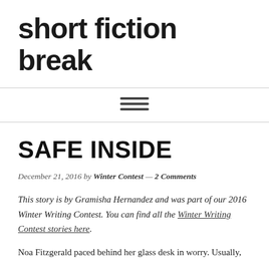short fiction break
[Figure (other): Hamburger menu icon (three horizontal lines)]
SAFE INSIDE
December 21, 2016 by Winter Contest — 2 Comments
This story is by Gramisha Hernandez and was part of our 2016 Winter Writing Contest. You can find all the Winter Writing Contest stories here.
Noa Fitzgerald paced behind her glass desk in worry. Usually,